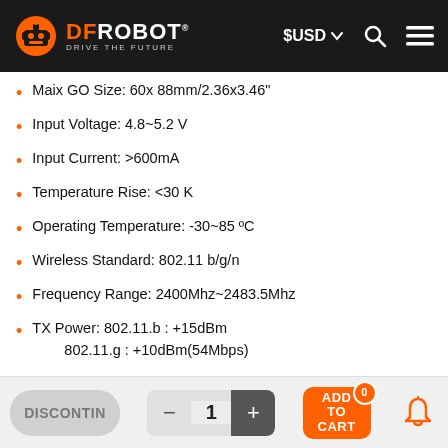DFRobot — DRIVE THE FUTURE | $USD | Search | Menu
Maix GO Size: 60x 88mm/2.36x3.46"
Input Voltage: 4.8~5.2 V
Input Current: >600mA
Temperature Rise: <30 K
Operating Temperature: -30~85 ºC
Wireless Standard: 802.11 b/g/n
Frequency Range: 2400Mhz~2483.5Mhz
TX Power: 802.11.b : +15dBm
802.11.g : +10dBm(54Mbps)
802.11.n : +10dBm (65Mbps)
DISCONTIN | - | 1 | + | ADD TO CART 0 | Bell